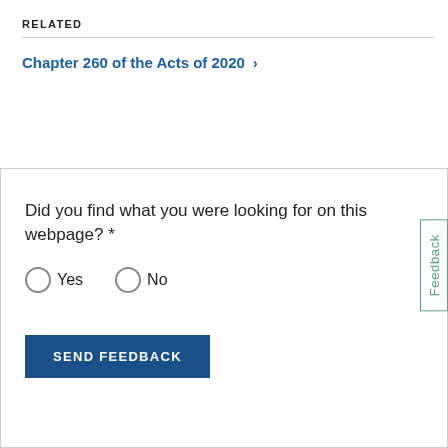RELATED
Chapter 260 of the Acts of 2020 →
Did you find what you were looking for on this webpage? *
Yes
No
SEND FEEDBACK